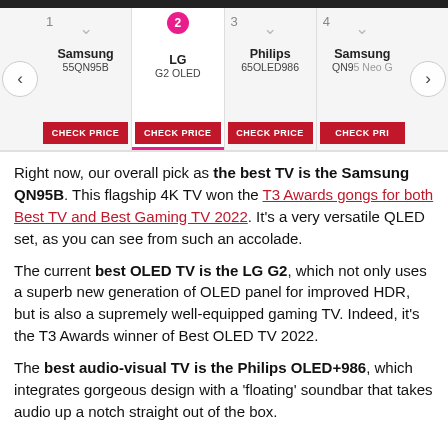[Figure (screenshot): Product carousel showing 4 TV picks: 1. Samsung 55QN95B, 2. LG G2 OLED (highlighted in pink, selected), 3. Philips 65OLED986, 4. Samsung QN95 Neo G. Each has a red CHECK PRICE button. Left and right navigation arrows visible.]
Right now, our overall pick as the best TV is the Samsung QN95B. This flagship 4K TV won the T3 Awards gongs for both Best TV and Best Gaming TV 2022. It's a very versatile QLED set, as you can see from such an accolade.
The current best OLED TV is the LG G2, which not only uses a superb new generation of OLED panel for improved HDR, but is also a supremely well-equipped gaming TV. Indeed, it's the T3 Awards winner of Best OLED TV 2022.
The best audio-visual TV is the Philips OLED+986, which integrates gorgeous design with a 'floating' soundbar that takes audio up a notch straight out of the box.